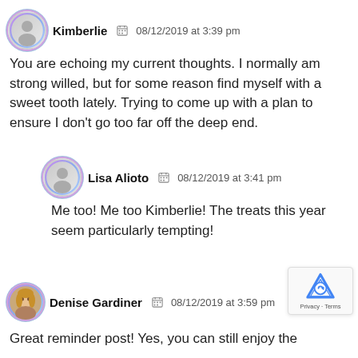Kimberlie   08/12/2019 at 3:39 pm
You are echoing my current thoughts. I normally am strong willed, but for some reason find myself with a sweet tooth lately. Trying to come up with a plan to ensure I don't go too far off the deep end.
Lisa Alioto   08/12/2019 at 3:41 pm
Me too! Me too Kimberlie! The treats this year seem particularly tempting!
Denise Gardiner   08/12/2019 at 3:59 pm
Great reminder post! Yes, you can still enjoy the